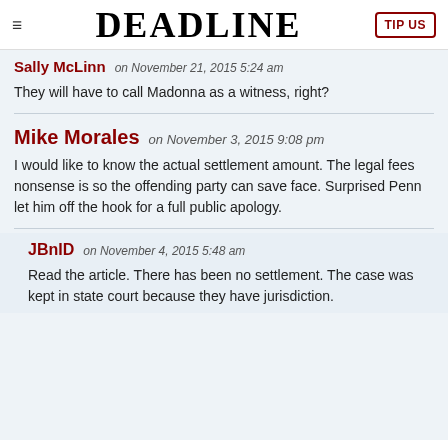DEADLINE | TIP US
Sally McLinn on November 21, 2015 5:24 am
They will have to call Madonna as a witness, right?
Mike Morales on November 3, 2015 9:08 pm
I would like to know the actual settlement amount. The legal fees nonsense is so the offending party can save face. Surprised Penn let him off the hook for a full public apology.
JBnID on November 4, 2015 5:48 am
Read the article. There has been no settlement. The case was kept in state court because they have jurisdiction.